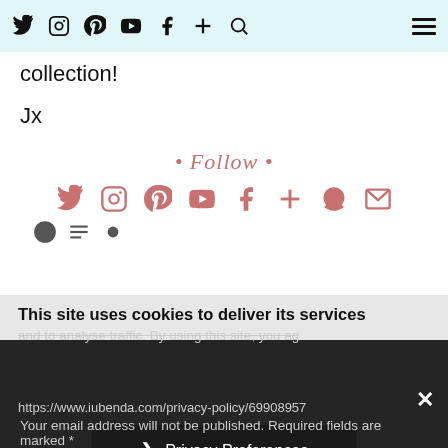Navigation bar with social icons: Twitter, Instagram, Pinterest, YouTube, Facebook, Plus, Search, and hamburger menu
collection!
Jx
[Figure (infographic): Follow script text in rose/salmon color, followed by a row of pink/rose social media icons: Twitter, Instagram, Pinterest, YouTube, Facebook, Plus, Snapchat, Mail, and below that partial icons for share buttons]
This site uses cookies to deliver its services and to analyse traffic. By using this site, you ag...
https://www.iubenda.com/privacy-policy/69908957
❯ Privacy Preferences
I Agree
Your email address will not be published. Required fields are marked *